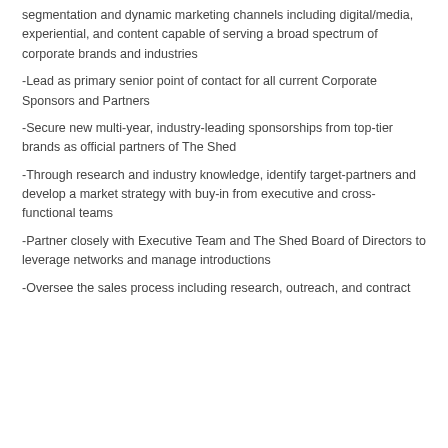segmentation and dynamic marketing channels including digital/media, experiential, and content capable of serving a broad spectrum of corporate brands and industries
-Lead as primary senior point of contact for all current Corporate Sponsors and Partners
-Secure new multi-year, industry-leading sponsorships from top-tier brands as official partners of The Shed
-Through research and industry knowledge, identify target-partners and develop a market strategy with buy-in from executive and cross-functional teams
-Partner closely with Executive Team and The Shed Board of Directors to leverage networks and manage introductions
-Oversee the sales process including research, outreach, and contract